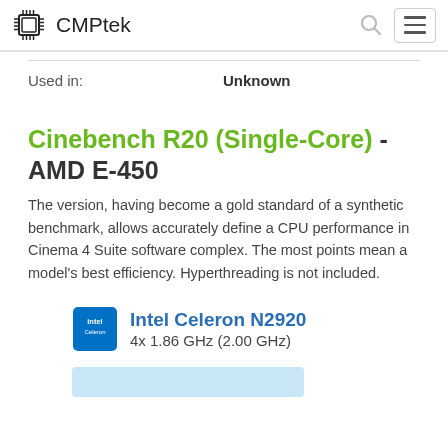CMPtek
| Used in: | Unknown |
| --- | --- |
Cinebench R20 (Single-Core) - AMD E-450
The version, having become a gold standard of a synthetic benchmark, allows accurately define a CPU performance in Cinema 4 Suite software complex. The most points mean a model's best efficiency. Hyperthreading is not included.
Intel Celeron N2920
4x 1.86 GHz (2.00 GHz)